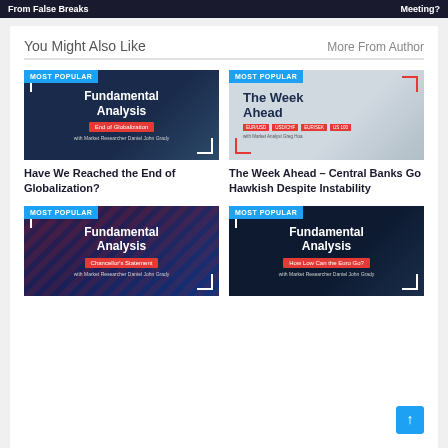From False Breaks    Meeting?
You Might Also Like
More From Author
[Figure (photo): Fundamental Analysis – End of Globalization thumbnail with MOST POPULAR badge]
Have We Reached the End of Globalization?
[Figure (photo): The Week Ahead – Central Banks Go Hawkish Despite Instability thumbnail with MOST POPULAR badge]
The Week Ahead – Central Banks Go Hawkish Despite Instability
[Figure (photo): Fundamental Analysis – Chancellor's Statement thumbnail with MOST POPULAR badge]
[Figure (photo): Fundamental Analysis – How Low Can the Euro Go? thumbnail with MOST POPULAR badge]